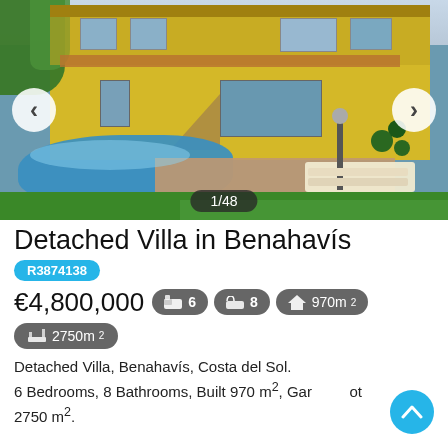[Figure (photo): Exterior photo of a detached yellow villa with swimming pool, patio, sun loungers, and landscaped garden. Navigation arrows on left and right. Photo counter '1/48' at bottom center.]
Detached Villa in Benahavís
R3874138
€4,800,000  🛏 6  🛁 8  🏠 970m²  📐 2750m²
Detached Villa, Benahavís, Costa del Sol.
6 Bedrooms, 8 Bathrooms, Built 970 m², Garden Lot 2750 m².